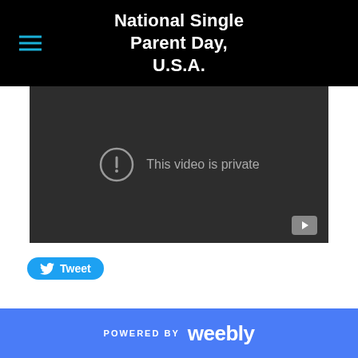National Single Parent Day, U.S.A.
[Figure (screenshot): Embedded video player showing 'This video is private' message with an exclamation icon and a YouTube play button in the bottom-right corner. Dark gray background.]
[Figure (other): Twitter Tweet button with bird icon]
POWERED BY weebly